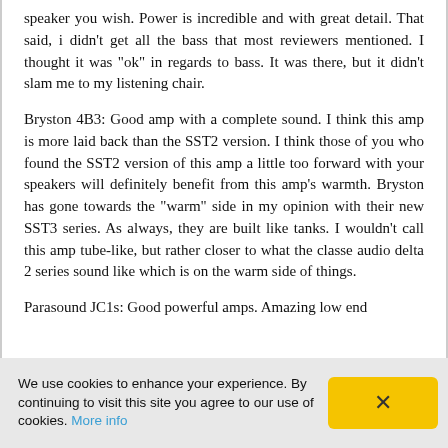speaker you wish. Power is incredible and with great detail. That said, i didn't get all the bass that most reviewers mentioned. I thought it was "ok" in regards to bass. It was there, but it didn't slam me to my listening chair.
Bryston 4B3: Good amp with a complete sound. I think this amp is more laid back than the SST2 version. I think those of you who found the SST2 version of this amp a little too forward with your speakers will definitely benefit from this amp's warmth. Bryston has gone towards the "warm" side in my opinion with their new SST3 series. As always, they are built like tanks. I wouldn't call this amp tube-like, but rather closer to what the classe audio delta 2 series sound like which is on the warm side of things.
Parasound JC1s: Good powerful amps. Amazing low end
We use cookies to enhance your experience. By continuing to visit this site you agree to our use of cookies. More info